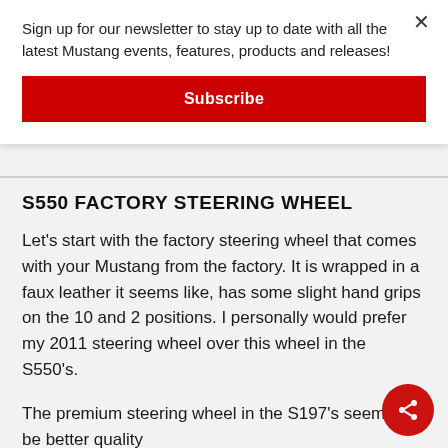Sign up for our newsletter to stay up to date with all the latest Mustang events, features, products and releases!
Subscribe
S550 FACTORY STEERING WHEEL
Let's start with the factory steering wheel that comes with your Mustang from the factory. It is wrapped in a faux leather it seems like, has some slight hand grips on the 10 and 2 positions. I personally would prefer my 2011 steering wheel over this wheel in the S550's.
The premium steering wheel in the S197's seemed to be better quality